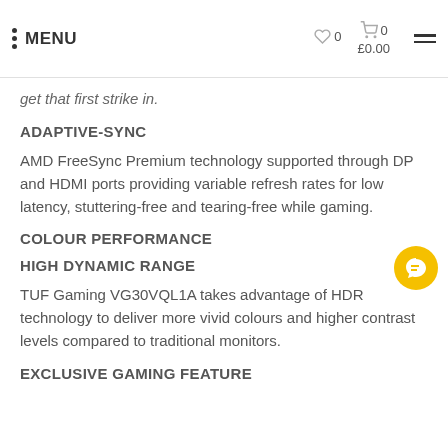MENU   ♡ 0   🛒 0   £0.00
get that first strike in.
ADAPTIVE-SYNC
AMD FreeSync Premium technology supported through DP and HDMI ports providing variable refresh rates for low latency, stuttering-free and tearing-free while gaming.
COLOUR PERFORMANCE
HIGH DYNAMIC RANGE
TUF Gaming VG30VQL1A takes advantage of HDR technology to deliver more vivid colours and higher contrast levels compared to traditional monitors.
EXCLUSIVE GAMING FEATURE